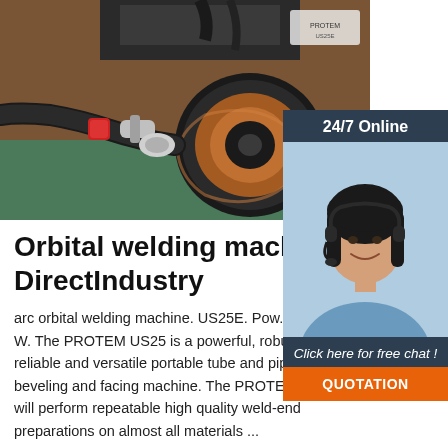[Figure (photo): Close-up photo of an orbital welding machine with a copper wire spool, hoses and connectors in an industrial setting]
[Figure (photo): Sidebar panel showing '24/7 Online' header and a smiling female customer service representative wearing a headset, with 'Click here for free chat!' text and an orange QUOTATION button]
Orbital welding machine - DirectIndustry
arc orbital welding machine. US25E. Pow... W. The PROTEM US25 is a powerful, robust, reliable and versatile portable tube and pipe beveling and facing machine. The PROTEM US25 will perform repeatable high quality weld-end preparations on almost all materials ...